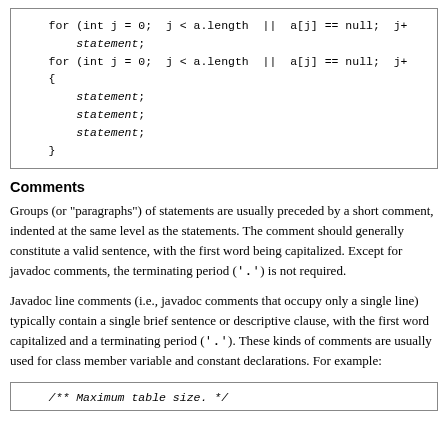for (int j = 0;  j < a.length  ||  a[j] == null;  j+
    statement;

for (int j = 0;  j < a.length  ||  a[j] == null;  j+
{
    statement;
    statement;
    statement;
}
Comments
Groups (or "paragraphs") of statements are usually preceded by a short comment, indented at the same level as the statements. The comment should generally constitute a valid sentence, with the first word being capitalized. Except for javadoc comments, the terminating period ('.') is not required.
Javadoc line comments (i.e., javadoc comments that occupy only a single line) typically contain a single brief sentence or descriptive clause, with the first word capitalized and a terminating period ('.'). These kinds of comments are usually used for class member variable and constant declarations. For example:
/** Maximum table size. */